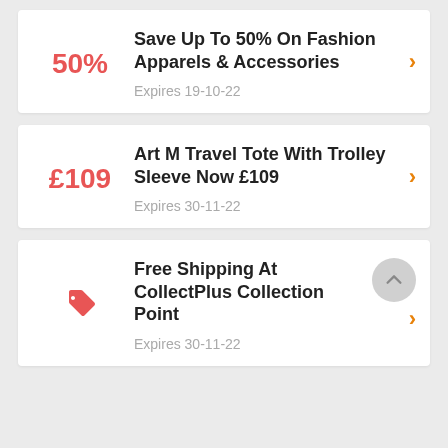Save Up To 50% On Fashion Apparels & Accessories
Expires 19-10-22
Art M Travel Tote With Trolley Sleeve Now £109
Expires 30-11-22
Free Shipping At CollectPlus Collection Point
Expires 30-11-22